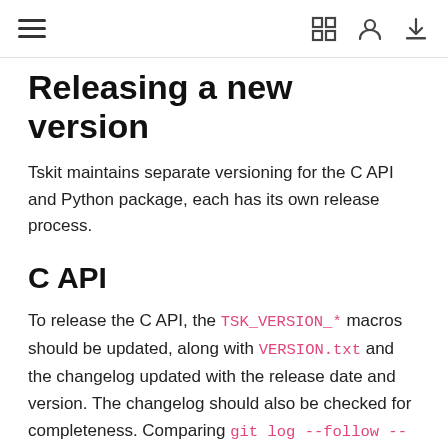≡  ⛶  ⊙  ⬇
Releasing a new version
Tskit maintains separate versioning for the C API and Python package, each has its own release process.
C API
To release the C API, the TSK_VERSION_* macros should be updated, along with VERSION.txt and the changelog updated with the release date and version. The changelog should also be checked for completeness. Comparing git log --follow --oneline -- c with git log --follow --oneline -- c/CHANGELOG.rst may help here. After the commit including these changes has been merged, tag a release on GitHub using the pattern c.MAJOR.MINOR.PATCH with: